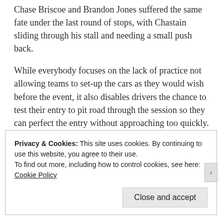Chase Briscoe and Brandon Jones suffered the same fate under the last round of stops, with Chastain sliding through his stall and needing a small push back.
While everybody focuses on the lack of practice not allowing teams to set-up the cars as they would wish before the event, it also disables drivers the chance to test their entry to pit road through the session so they can perfect the entry without approaching too quickly.
Ultimately, Briscoe and Chastain’s fate wasn’t just sealed by the pit road issues, but rather contact with the wall when they slid in oil after another car blew up. Briscoe blew a tire due to the damage sustained en route to finishing 20th, while Chastain fought back through the final restarts to place
Privacy & Cookies: This site uses cookies. By continuing to use this website, you agree to their use.
To find out more, including how to control cookies, see here: Cookie Policy
Close and accept